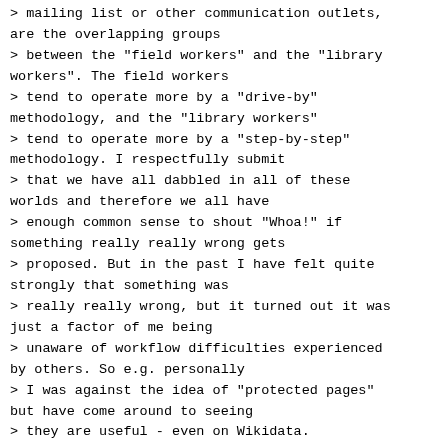> mailing list or other communication outlets, are the overlapping groups
> between the "field workers" and the "library workers". The field workers
> tend to operate more by a "drive-by" methodology, and the "library workers"
> tend to operate more by a "step-by-step" methodology. I respectfully submit
> that we have all dabbled in all of these worlds and therefore we all have
> enough common sense to shout "Whoa!" if something really really wrong gets
> proposed. But in the past I have felt quite strongly that something was
> really really wrong, but it turned out it was just a factor of me being
> unaware of workflow difficulties experienced by others. So e.g. personally
> I was against the idea of "protected pages" but have come around to seeing
> they are useful - even on Wikidata.
>
> On Tue, Jul 24, 2018 at 10:12 PM, Anders Wennersten <